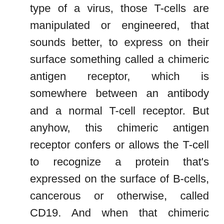type of a virus, those T-cells are manipulated or engineered, that sounds better, to express on their surface something called a chimeric antigen receptor, which is somewhere between an antibody and a normal T-cell receptor. But anyhow, this chimeric antigen receptor confers or allows the T-cell to recognize a protein that's expressed on the surface of B-cells, cancerous or otherwise, called CD19. And when that chimeric antigen or CAR antigen, excuse me, that CAR receptor expressing T-cell sees a lymphoma cell, it engages it and kills it, a pretty clever idea which has been in the works for decades now.

But CAR T-cell therapy has now been